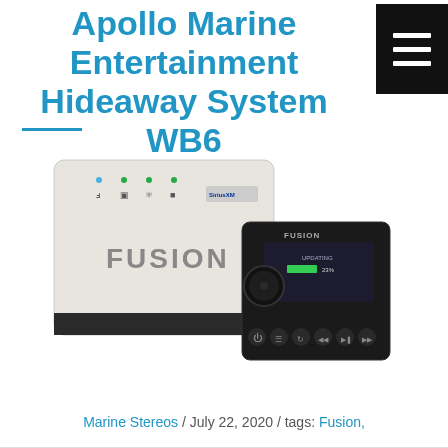Apollo Marine Entertainment Hideaway System WB6
[Figure (photo): Fusion Apollo Marine Entertainment Hideaway System WB6 — a white square hideaway unit with Fusion logo and SiriusXM badge on front, alongside a black wired remote control with color screen showing 23% update progress and playback buttons.]
Marine Stereos / July 22, 2020 / tags: Fusion,